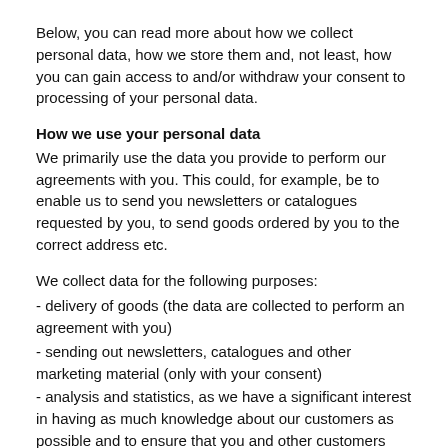Below, you can read more about how we collect personal data, how we store them and, not least, how you can gain access to and/or withdraw your consent to processing of your personal data.
How we use your personal data
We primarily use the data you provide to perform our agreements with you. This could, for example, be to enable us to send you newsletters or catalogues requested by you, to send goods ordered by you to the correct address etc.
We collect data for the following purposes:
- delivery of goods (the data are collected to perform an agreement with you)
- sending out newsletters, catalogues and other marketing material (only with your consent)
- analysis and statistics, as we have a significant interest in having as much knowledge about our customers as possible and to ensure that you and other customers have as good an experience on gestuz.com as possible
- security conditions, as we have a significant interest in